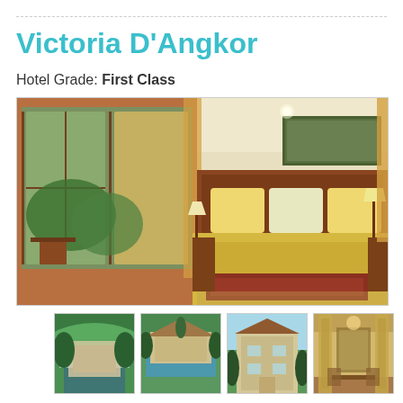Victoria D'Angkor
Hotel Grade: First Class
[Figure (photo): Hotel room interior with large wooden bed with yellow linens, balcony doors, wooden furniture, warm lighting, and a painting on the wall]
[Figure (photo): Aerial view of hotel with pool and tropical gardens]
[Figure (photo): Hotel exterior with pool and surrounding greenery]
[Figure (photo): Hotel entrance and exterior with tropical landscaping]
[Figure (photo): Hotel restaurant or lobby interior with warm lighting]